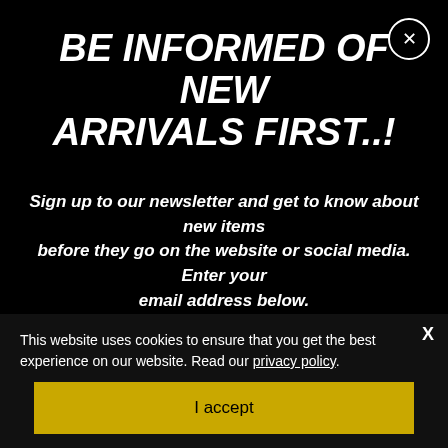BE INFORMED OF NEW ARRIVALS FIRST..!
Sign up to our newsletter and get to know about new items before they go on the website or social media. Enter your email address below.
Enter your email address...
This website uses cookies to ensure that you get the best experience on our website. Read our privacy policy.
I accept